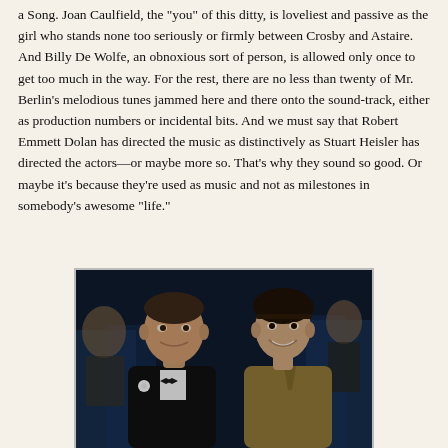a Song. Joan Caulfield, the "you" of this ditty, is loveliest and passive as the girl who stands none too seriously or firmly between Crosby and Astaire. And Billy De Wolfe, an obnoxious sort of person, is allowed only once to get too much in the way. For the rest, there are no less than twenty of Mr. Berlin's melodious tunes jammed here and there onto the sound-track, either as production numbers or incidental bits. And we must say that Robert Emmett Dolan has directed the music as distinctively as Stuart Heisler has directed the actors—or maybe more so. That's why they sound so good. Or maybe it's because they're used as music and not as milestones in somebody's awesome "life."
[Figure (photo): Black and white or color film still showing a man in a black tuxedo with bow tie and white flower boutonniere, and a woman in a tan/gold jacket with dark hair and hairband, seated together, likely in a theater or event setting, with other people visible in the background.]